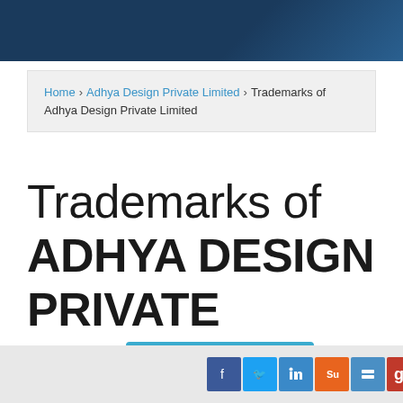Home › Adhya Design Private Limited › Trademarks of Adhya Design Private Limited
Trademarks of ADHYA DESIGN PRIVATE LIMITED
Track this company
TOP OF PAGE